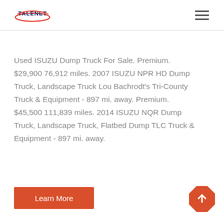TALENET
Used ISUZU Dump Truck For Sale. Premium. $29,900 76,912 miles. 2007 ISUZU NPR HD Dump Truck, Landscape Truck Lou Bachrodt's Tri-County Truck & Equipment - 897 mi. away. Premium. $45,500 111,839 miles. 2014 ISUZU NQR Dump Truck, Landscape Truck, Flatbed Dump TLC Truck & Equipment - 897 mi. away.
Learn More